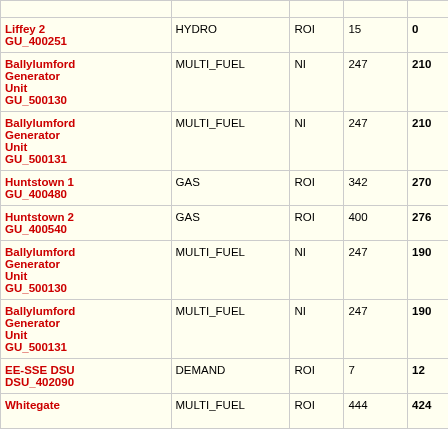| Name / ID | Fuel Type | Region | Capacity | MW | Unit | Timestamp |
| --- | --- | --- | --- | --- | --- | --- |
| Liffey 2 GU_400251 | HYDRO | ROI | 15 | 0 | MWOF | 2022-06-20T18:00:0 |
| Ballylumford Generator Unit GU_500130 | MULTI_FUEL | NI | 247 | 210 | MWOF | 2022-06-20T18:00:0 |
| Ballylumford Generator Unit GU_500131 | MULTI_FUEL | NI | 247 | 210 | MWOF | 2022-06-20T18:00:0 |
| Huntstown 1 GU_400480 | GAS | ROI | 342 | 270 | MWOF | 2022-06-20T17:59:0 |
| Huntstown 2 GU_400540 | GAS | ROI | 400 | 276 | MWOF | 2022-06-20T17:59:0 |
| Ballylumford Generator Unit GU_500130 | MULTI_FUEL | NI | 247 | 190 | MWOF | 2022-06-20T17:58:0 |
| Ballylumford Generator Unit GU_500131 | MULTI_FUEL | NI | 247 | 190 | MWOF | 2022-06-20T17:58:0 |
| EE-SSE DSU DSU_402090 | DEMAND | ROI | 7 | 12 | MWOF | 2022-06-20T17:53:0 |
| Whitegate | MULTI_FUEL | ROI | 444 | 424 | MWOF | 2022-06-20T17:42: |